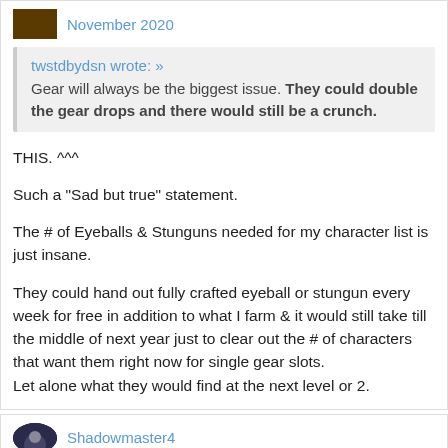November 2020
twstdbydsn wrote: »
Gear will always be the biggest issue. They could double the gear drops and there would still be a crunch.
THIS. ^^^

Such a "Sad but true" statement.

The # of Eyeballs & Stunguns needed for my character list is just insane.

They could hand out fully crafted eyeball or stungun every week for free in addition to what I farm & it would still take till the middle of next year just to clear out the # of characters that want them right now for single gear slots.
Let alone what they would find at the next level or 2.
Shadowmaster4